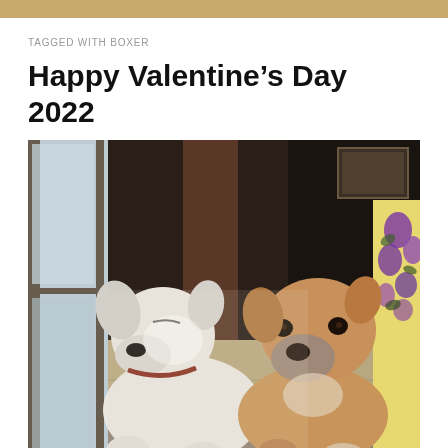TAGGED WITH BOXER
Happy Valentine's Day 2022
[Figure (photo): Two dogs sitting together indoors near a sliding glass door in bright sunlight. On the left is a white dog with its eyes partly closed, wearing a collar. On the right is a tan/brown boxer-mix dog with a gray muzzle, looking at the camera. A colorful floral pillow is visible on the right edge.]